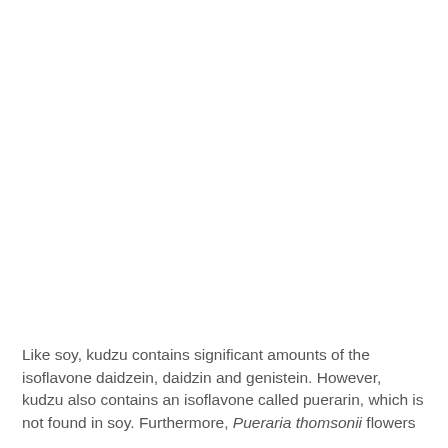Like soy, kudzu contains significant amounts of the isoflavone daidzein, daidzin and genistein. However, kudzu also contains an isoflavone called puerarin, which is not found in soy. Furthermore, Pueraria thomsonii flowers